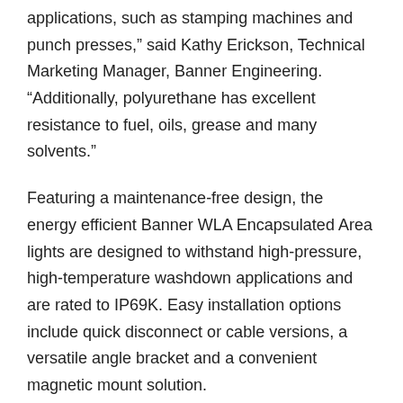applications, such as stamping machines and punch presses,” said Kathy Erickson, Technical Marketing Manager, Banner Engineering. “Additionally, polyurethane has excellent resistance to fuel, oils, grease and many solvents.”
Featuring a maintenance-free design, the energy efficient Banner WLA Encapsulated Area lights are designed to withstand high-pressure, high-temperature washdown applications and are rated to IP69K. Easy installation options include quick disconnect or cable versions, a versatile angle bracket and a convenient magnetic mount solution.
For more information on Banner’s WLA Series encapsulated work lights, visit bannerengineering.com.